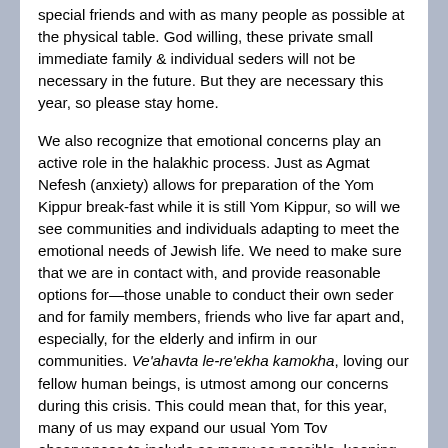special friends and with as many people as possible at the physical table. God willing, these private small immediate family & individual seders will not be necessary in the future. But they are necessary this year, so please stay home.
We also recognize that emotional concerns play an active role in the halakhic process. Just as Agmat Nefesh (anxiety) allows for preparation of the Yom Kippur break-fast while it is still Yom Kippur, so will we see communities and individuals adapting to meet the emotional needs of Jewish life. We need to make sure that we are in contact with, and provide reasonable options for—those unable to conduct their own seder and for family members, friends who live far apart and, especially, for the elderly and infirm in our communities. Ve'ahavta le-re'ekha kamokha, loving our fellow human beings, is utmost among our concerns during this crisis. This could mean that, for this year, many of us may expand our usual Yom Tov observances to include as many as possible, keeping in mind civic and medical instructions to limit sedarim to only those who reside in the household.
As different practices emerge in different communities, let's all remember to treat one another as kindly as possible, reserving judgement for the One imbued with the amount of compassion with which to do it lovingly, always.
A few tips to keep in mind when purchasing food for the seder: